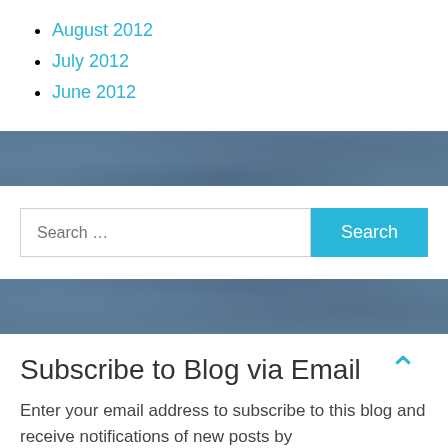August 2012
July 2012
June 2012
[Figure (screenshot): Search bar with text input placeholder 'Search ...' and a cyan 'Search' button]
Subscribe to Blog via Email
Enter your email address to subscribe to this blog and receive notifications of new posts by